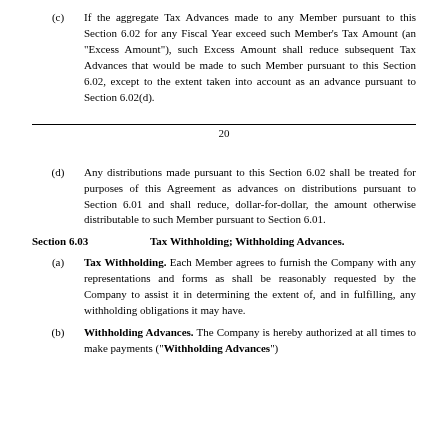(c) If the aggregate Tax Advances made to any Member pursuant to this Section 6.02 for any Fiscal Year exceed such Member's Tax Amount (an "Excess Amount"), such Excess Amount shall reduce subsequent Tax Advances that would be made to such Member pursuant to this Section 6.02, except to the extent taken into account as an advance pursuant to Section 6.02(d).
20
(d) Any distributions made pursuant to this Section 6.02 shall be treated for purposes of this Agreement as advances on distributions pursuant to Section 6.01 and shall reduce, dollar-for-dollar, the amount otherwise distributable to such Member pursuant to Section 6.01.
Section 6.03   Tax Withholding; Withholding Advances.
(a) Tax Withholding. Each Member agrees to furnish the Company with any representations and forms as shall be reasonably requested by the Company to assist it in determining the extent of, and in fulfilling, any withholding obligations it may have.
(b) Withholding Advances. The Company is hereby authorized at all times to make payments ("Withholding Advances")